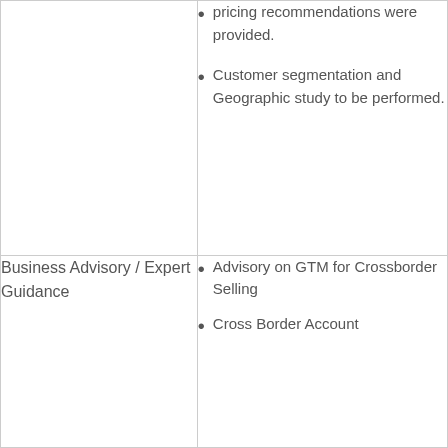pricing recommendations were provided.
Customer segmentation and Geographic study to be performed.
Business Advisory / Expert Guidance
Advisory on GTM for Crossborder Selling
Cross Border Account